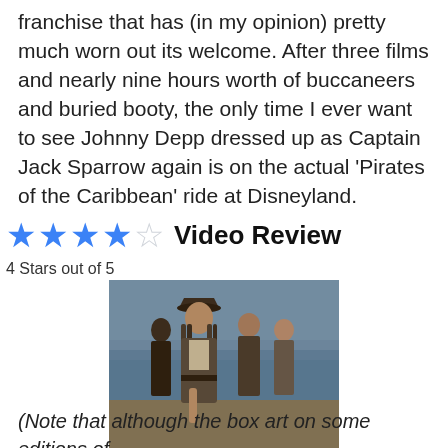franchise that has (in my opinion) pretty much worn out its welcome. After three films and nearly nine hours worth of buccaneers and buried booty, the only time I ever want to see Johnny Depp dressed up as Captain Jack Sparrow again is on the actual 'Pirates of the Caribbean' ride at Disneyland.
★★★★☆ Video Review
4 Stars out of 5
[Figure (photo): Movie still showing pirates on a beach, with Jack Sparrow character in foreground wearing tricorn hat and dreadlocks, other characters behind him]
(Note that although the box art on some editions of